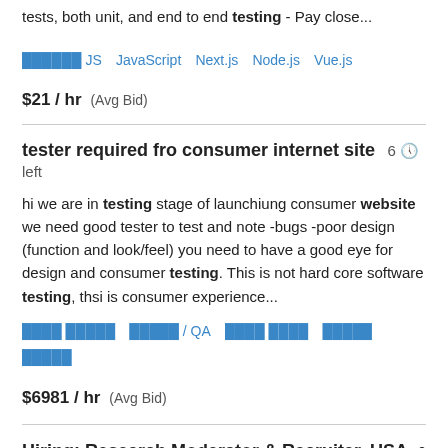tests, both unit, and end to end testing - Pay close...
JS   JavaScript   Next.js   Node.js   Vue.js
$21 / hr  (Avg Bid)
tester required fro consumer internet site   6 🕒 left
hi we are in testing stage of launchiung consumer website we need good tester to test and note -bugs -poor design (function and look/feel) you need to have a good eye for design and consumer testing. This is not hard core software testing, thsi is consumer experience...
████ █████   █████ / QA   ████ ████   █████ █████
$6981 / hr  (Avg Bid)
Hiring: Research Moderator & Recruiter, USA   6 🕒 left